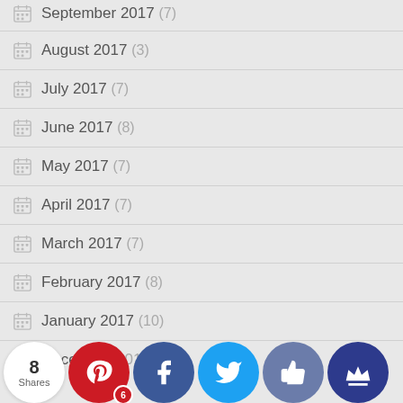September 2017 (7)
August 2017 (3)
July 2017 (7)
June 2017 (8)
May 2017 (7)
April 2017 (7)
March 2017 (7)
February 2017 (8)
January 2017 (10)
December 2016 (8)